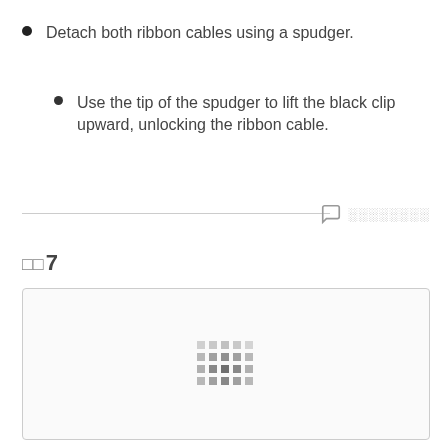Detach both ribbon cables using a spudger.
Use the tip of the spudger to lift the black clip upward, unlocking the ribbon cable.
□□7
[Figure (photo): A bordered image box with a loading/placeholder indicator (grid of dots) in the center, indicating an image that has not fully loaded.]